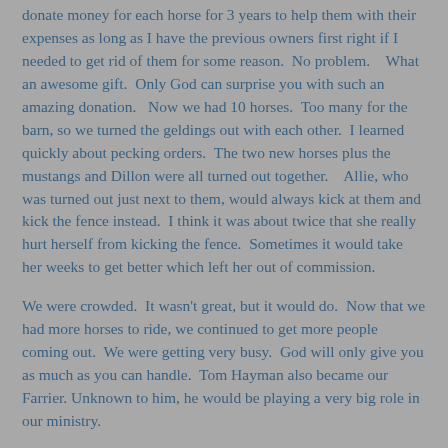donate money for each horse for 3 years to help them with their expenses as long as I have the previous owners first right if I needed to get rid of them for some reason.  No problem.   What an awesome gift.  Only God can surprise you with such an amazing donation.   Now we had 10 horses.  Too many for the barn, so we turned the geldings out with each other.  I learned quickly about pecking orders.  The two new horses plus the mustangs and Dillon were all turned out together.    Allie, who was turned out just next to them, would always kick at them and kick the fence instead.  I think it was about twice that she really hurt herself from kicking the fence.  Sometimes it would take her weeks to get better which left her out of commission.
We were crowded.  It wasn't great, but it would do.  Now that we had more horses to ride, we continued to get more people coming out.  We were getting very busy.  God will only give you as much as you can handle.  Tom Hayman also became our Farrier. Unknown to him, he would be playing a very big role in our ministry.
My husband and I still visited our house in Laguna Beach every month which would mean that the Ministry needed to go on without me for 2 weeks at a time.  This is when Mark